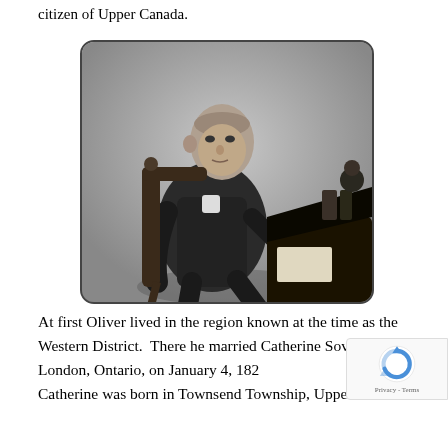citizen of Upper Canada.
[Figure (photo): Black and white photograph of a man seated at a desk, wearing a dark suit, writing with a pen. He faces the camera slightly. The photo has a rounded-corner border.]
At first Oliver lived in the region known at the time as the Western District.  There he married Catherine Sovereign, at London, Ontario, on January 4, 182… Catherine was born in Townsend Township, Upper…